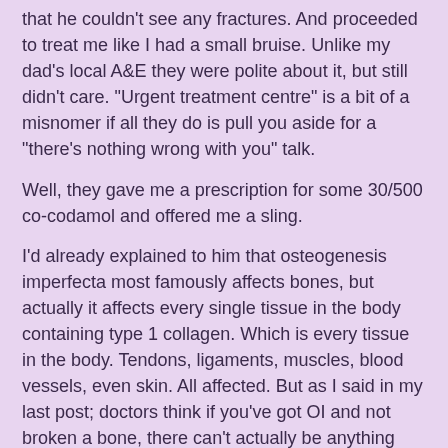that he couldn't see any fractures. And proceeded to treat me like I had a small bruise. Unlike my dad's local A&E they were polite about it, but still didn't care. "Urgent treatment centre" is a bit of a misnomer if all they do is pull you aside for a "there's nothing wrong with you" talk.
Well, they gave me a prescription for some 30/500 co-codamol and offered me a sling.
I'd already explained to him that osteogenesis imperfecta most famously affects bones, but actually it affects every single tissue in the body containing type 1 collagen. Which is every tissue in the body. Tendons, ligaments, muscles, blood vessels, even skin. All affected. But as I said in my last post; doctors think if you've got OI and not broken a bone, there can't actually be anything wrong with you at all. Explained it to him, all of it.
He said that if I couldn't manage at home, they could admit me until I got some social care.
"If you admit me, will that get me an MRI and a diagnosis?"